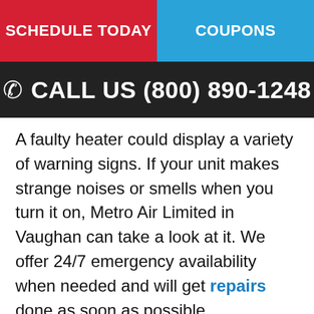SCHEDULE TODAY | COUPONS
CALL US (800) 890-1248
A faulty heater could display a variety of warning signs. If your unit makes strange noises or smells when you turn it on, Metro Air Limited in Vaughan can take a look at it. We offer 24/7 emergency availability when needed and will get repairs done as soon as possible.
Our technicians will arrive in company trucks that have all of the tools and parts they’ll need for the job. Everything will be completed efficiently so